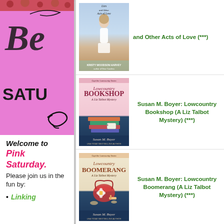[Figure (illustration): Pink Saturday banner with decorative script text 'Be...' and 'SATU' in bold, magenta/pink background with decorative swirl]
Welcome to Pink Saturday. Please join us in the fun by:
Linking
[Figure (photo): Book cover: Lies and Other Acts of Love by Kristy Woodson Harvey]
Lies and Other Acts of Love (***)
[Figure (photo): Book cover: Lowcountry Bookshop - A Liz Talbot Mystery by Susan M. Boyer]
Susan M. Boyer: Lowcountry Bookshop (A Liz Talbot Mystery) (***)
[Figure (photo): Book cover: Lowcountry Boomerang - A Liz Talbot Mystery by Susan M. Boyer]
Susan M. Boyer: Lowcountry Boomerang (A Liz Talbot Mystery) (***)